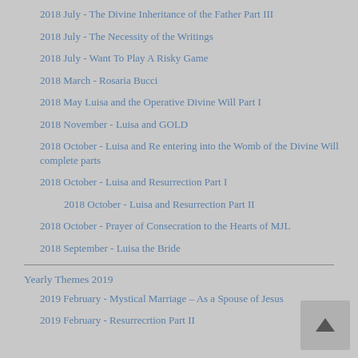2018 July - The Divine Inheritance of the Father Part III
2018 July - The Necessity of the Writings
2018 July - Want To Play A Risky Game
2018 March - Rosaria Bucci
2018 May Luisa and the Operative Divine Will Part I
2018 November - Luisa and GOLD
2018 October - Luisa and Re entering into the Womb of the Divine Will complete parts
2018 October - Luisa and Resurrection Part I
2018 October - Luisa and Resurrection Part II
2018 October - Prayer of Consecration to the Hearts of MJL
2018 September - Luisa the Bride
Yearly Themes 2019
2019 February - Mystical Marriage – As a Spouse of Jesus
2019 February - Resurrecrtion Part II